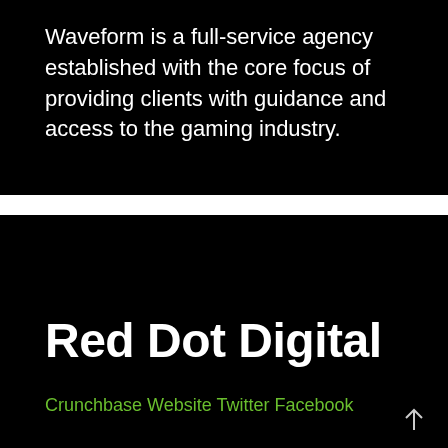Waveform is a full-service agency established with the core focus of providing clients with guidance and access to the gaming industry.
Red Dot Digital
Crunchbase Website Twitter Facebook